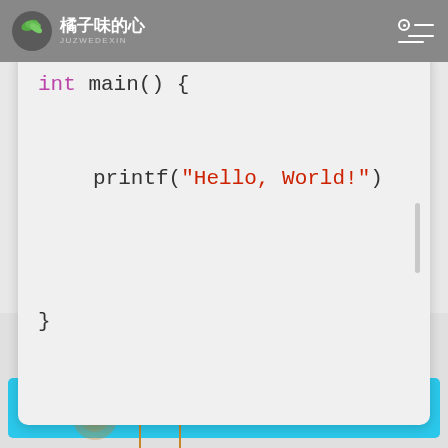橘子味的心 JUZWEDEXIN
[Figure (screenshot): Code editor screenshot showing C code: int main() { printf("Hello, World!") }]
[Figure (illustration): Dandelion illustration with cyan navigation bar at bottom]